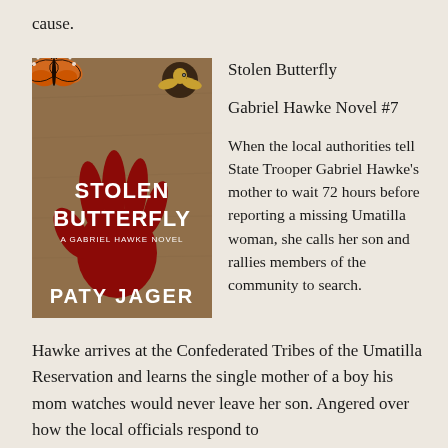cause.
[Figure (illustration): Book cover of 'Stolen Butterfly' by Paty Jager - A Gabriel Hawke Novel. Shows a brown textured background with a large red handprint, a monarch butterfly in the upper left, and an eagle logo in the upper right. Text reads: STOLEN BUTTERFLY, A GABRIEL HAWKE NOVEL, PATY JAGER]
Stolen Butterfly
Gabriel Hawke Novel #7
When the local authorities tell State Trooper Gabriel Hawke's mother to wait 72 hours before reporting a missing Umatilla woman, she calls her son and rallies members of the community to search.
Hawke arrives at the Confederated Tribes of the Umatilla Reservation and learns the single mother of a boy his mom watches would never leave her son. Angered over how the local officials respond to